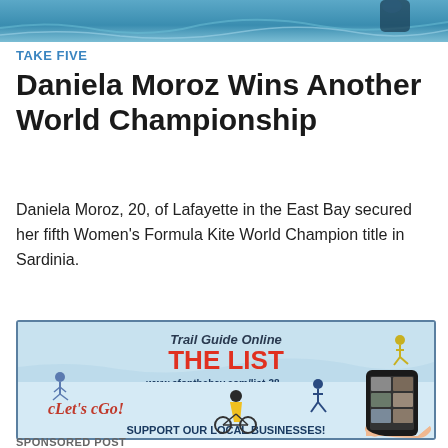[Figure (photo): Top cropped image showing water/surfing scene with blue tones]
TAKE FIVE
Daniela Moroz Wins Another World Championship
Daniela Moroz, 20, of Lafayette in the East Bay secured her fifth Women's Formula Kite World Champion title in Sardinia.
[Figure (infographic): Advertisement for Trail Guide Online - THE LIST at www.sfonthebay.com/list-38. Illustration shows people cycling, jumping, and a phone with app. Text includes 'Let's Go!', 'SUPPORT OUR LOCAL BUSINESSES!']
SPONSORED POST